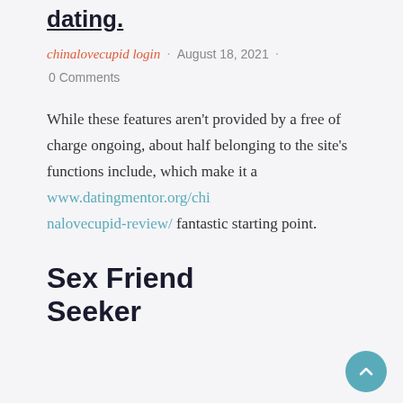dating.
chinalovecupid login · August 18, 2021 · 0 Comments
While these features aren't provided by a free of charge ongoing, about half belonging to the site's functions include, which make it a www.datingmentor.org/chinalovecupid-review/ fantastic starting point.
Sex Friend Seeker